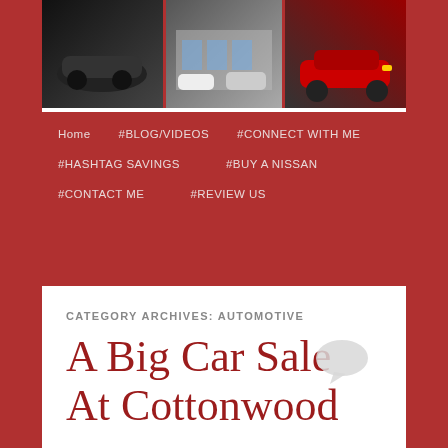[Figure (photo): Automotive website banner with multiple car images including a black sedan, dealership exterior, and a red car]
Home  #BLOG/VIDEOS  #CONNECT WITH ME  #HASHTAG SAVINGS  #BUY A NISSAN  #CONTACT ME  #REVIEW US
CATEGORY ARCHIVES: AUTOMOTIVE
A Big Car Sale At Cottonwood